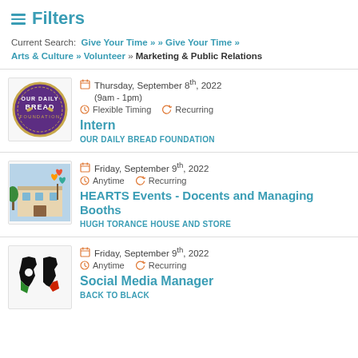≡ Filters
Current Search: Give Your Time » » Give Your Time » Arts & Culture » Volunteer » Marketing & Public Relations
Thursday, September 8th, 2022 (9am - 1pm) | Flexible Timing | Recurring | Intern | OUR DAILY BREAD FOUNDATION
Friday, September 9th, 2022 | Anytime | Recurring | HEARTS Events - Docents and Managing Booths | HUGH TORANCE HOUSE AND STORE
Friday, September 9th, 2022 | Anytime | Recurring | Social Media Manager | BACK TO BLACK